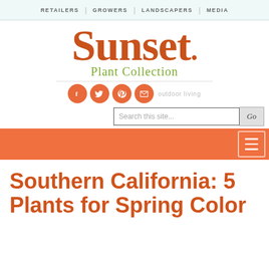RETAILERS | GROWERS | LANDSCAPERS | MEDIA
[Figure (logo): Sunset Plant Collection logo in orange serif font with green 'Plant Collection' subtitle and social media icons (Facebook, Twitter, Pinterest, email)]
Southern California: 5 Plants for Spring Color